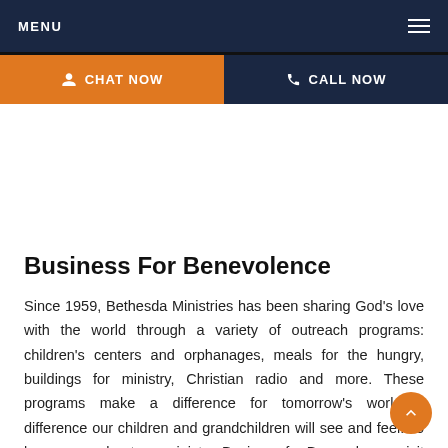MENU  ≡
CHAT NOW  CALL NOW
Business For Benevolence
Since 1959, Bethesda Ministries has been sharing God's love with the world through a variety of outreach programs: children's centers and orphanages, meals for the hungry, buildings for ministry, Christian radio and more. These programs make a difference for tomorrow's world—a difference our children and grandchildren will see and feel. To learn more about our ministry, Business for Benevolence, visit ba.org.